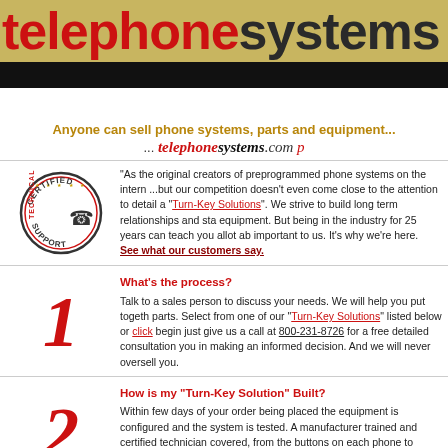telephonesystems
Anyone can sell phone systems, parts and equipment... ... telephonesystems.com p
"As the original creators of preprogrammed phone systems on the intern ...but our competition doesn't even come close to the attention to detail a "Turn-Key Solutions". We strive to build long term relationships and sta equipment. But being in the industry for 25 years can teach you allot ab important to us. It's why we're here. See what our customers say.
What's the process?
Talk to a sales person to discuss your needs. We will help you put togeth parts. Select from one of our "Turn-Key Solutions" listed below or click begin just give us a call at 800-231-8726 for a free detailed consultation you in making an informed decision. And we will never oversell you.
How is my "Turn-Key Solution" Built?
Within few days of your order being placed the equipment is configured and the system is tested. A manufacturer trained and certified technician covered, from the buttons on each phone to custom recorded voicemail what the needs and requirements of your business are. The result is that requirements. You get more than a pile of parts with a manual. If chang